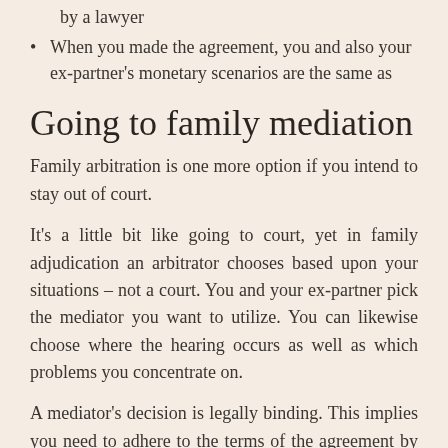by a lawyer
When you made the agreement, you and also your ex-partner's monetary scenarios are the same as
Going to family mediation
Family arbitration is one more option if you intend to stay out of court.
It's a little bit like going to court, yet in family adjudication an arbitrator chooses based upon your situations – not a court. You and your ex-partner pick the mediator you want to utilize. You can likewise choose where the hearing occurs as well as which problems you concentrate on.
A mediator's decision is legally binding. This implies you need to adhere to the terms of the agreement by law.